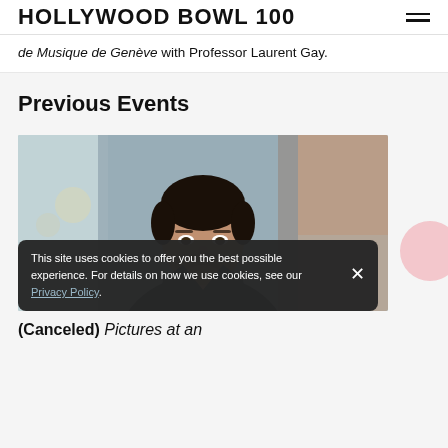HOLLYWOOD BOWL 100
de Musique de Genève with Professor Laurent Gay.
Previous Events
[Figure (photo): Portrait of a young man with dark hair and beard, wearing a dark green jacket, resting his chin on his hand, looking at the camera with a blurred background.]
This site uses cookies to offer you the best possible experience. For details on how we use cookies, see our Privacy Policy.
(Canceled) Pictures at an